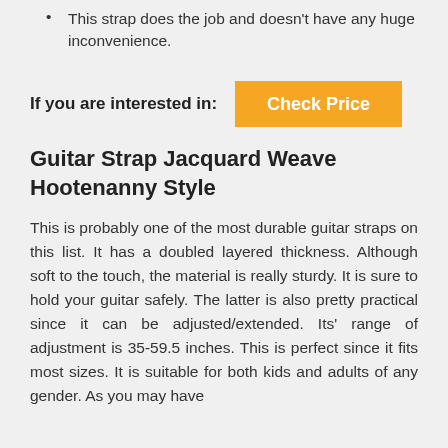This strap does the job and doesn't have any huge inconvenience.
If you are interested in:
Check Price
Guitar Strap Jacquard Weave Hootenanny Style
This is probably one of the most durable guitar straps on this list. It has a doubled layered thickness. Although soft to the touch, the material is really sturdy. It is sure to hold your guitar safely. The latter is also pretty practical since it can be adjusted/extended. Its' range of adjustment is 35-59.5 inches. This is perfect since it fits most sizes. It is suitable for both kids and adults of any gender. As you may have